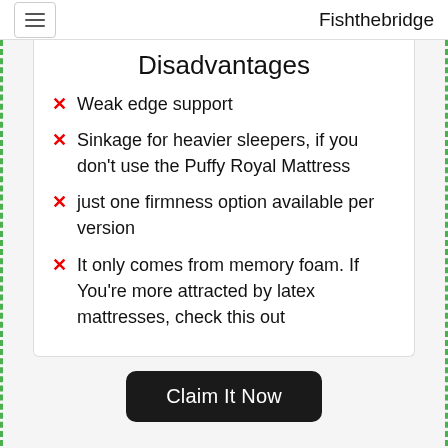Fishthebridge
Disadvantages
Weak edge support
Sinkage for heavier sleepers, if you don't use the Puffy Royal Mattress
just one firmness option available per version
It only comes from memory foam. If You're more attracted by latex mattresses, check this out
Claim It Now